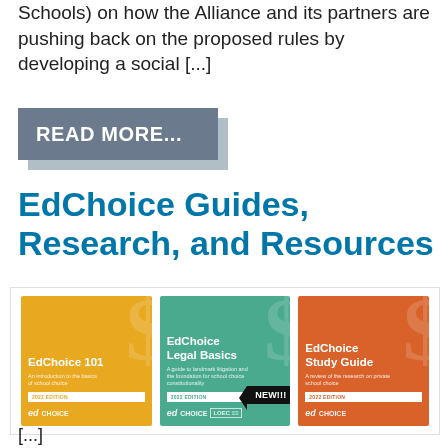Schools) on how the Alliance and its partners are pushing back on the proposed rules by developing a social [...]
READ MORE...
EdChoice Guides, Research, and Resources
[Figure (illustration): Three book covers side by side: EdChoice 101 (yellow, 2022 Edition), EdChoice Legal Basics (teal, 2022 Edition, NEW!!!), EdChoice Study Guide (orange, 2022 Edition). All show 'ed CHOICE' logos and '2022 EDITION' badges.]
[...]